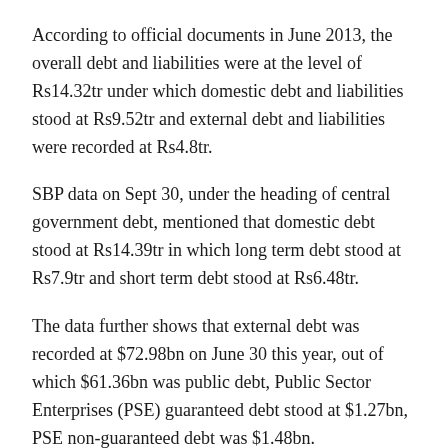According to official documents in June 2013, the overall debt and liabilities were at the level of Rs14.32tr under which domestic debt and liabilities stood at Rs9.52tr and external debt and liabilities were recorded at Rs4.8tr.
SBP data on Sept 30, under the heading of central government debt, mentioned that domestic debt stood at Rs14.39tr in which long term debt stood at Rs7.9tr and short term debt stood at Rs6.48tr.
The data further shows that external debt was recorded at $72.98bn on June 30 this year, out of which $61.36bn was public debt, Public Sector Enterprises (PSE) guaranteed debt stood at $1.27bn, PSE non-guaranteed debt was $1.48bn.
During the same period, scheduled banks’ borrowing amounted to $1.64bn, non-resident deposits stood at $1.09bn, private non-